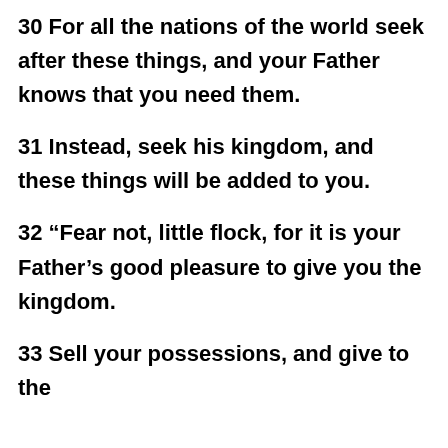30 For all the nations of the world seek after these things, and your Father knows that you need them.
31 Instead, seek his kingdom, and these things will be added to you.
32 “Fear not, little flock, for it is your Father’s good pleasure to give you the kingdom.
33 Sell your possessions, and give to the